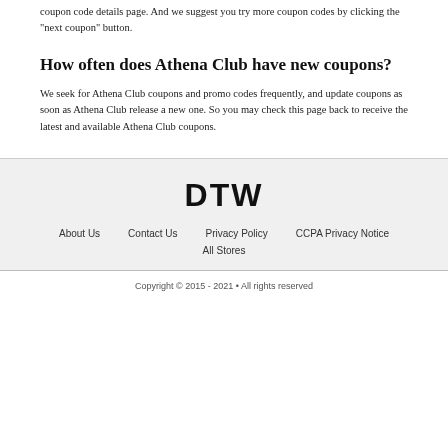coupon code details page. And we suggest you try more coupon codes by clicking the "next coupon" button.
How often does Athena Club have new coupons?
We seek for Athena Club coupons and promo codes frequently, and update coupons as soon as Athena Club release a new one. So you may check this page back to receive the latest and available Athena Club coupons.
[Figure (logo): DTW logo in bold black text]
About Us   Contact Us   Privacy Policy   CCPA Privacy Notice
All Stores
Copyright © 2015 - 2021 • All rights reserved